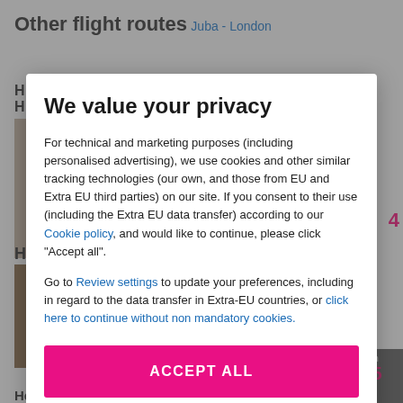Other flight routes
Juba - London
We value your privacy
For technical and marketing purposes (including personalised advertising), we use cookies and other similar tracking technologies (our own, and those from EU and Extra EU third parties) on our site. If you consent to their use (including the Extra EU data transfer) according to our Cookie policy, and would like to continue, please click "Accept all".
Go to Review settings to update your preferences, including in regard to the data transfer in Extra-EU countries, or click here to continue without non mandatory cookies.
ACCEPT ALL